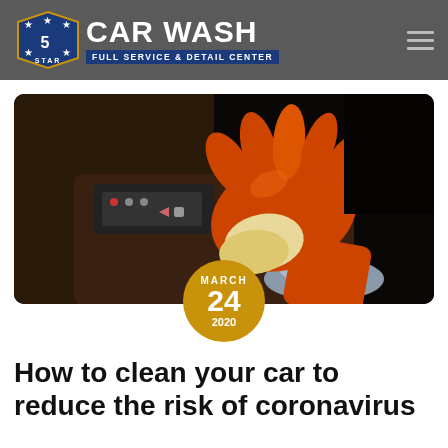5 Star CAR WASH FULL SERVICE & DETAIL CENTER
[Figure (photo): A gloved orange hand wiping the center console and gear shift area of a luxury car interior with a cloth]
How to clean your car to reduce the risk of coronavirus